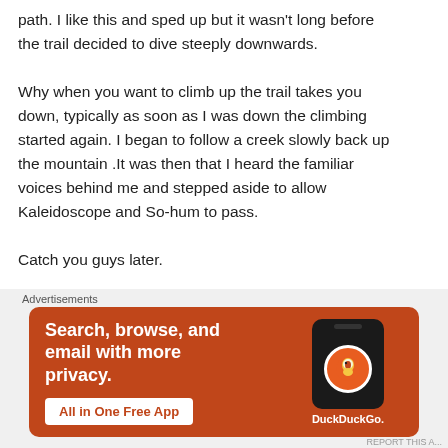path. I like this and sped up but it wasn't long before the trail decided to dive steeply downwards.
Why when you want to climb up the trail takes you down, typically as soon as I was down the climbing started again. I began to follow a creek slowly back up the mountain .It was then that I heard the familiar voices behind me and stepped aside to allow Kaleidoscope and So-hum to pass.
Catch you guys later.
They were hoping for a 15 miles I may be able to match that depending on the terrain .
As I walked I found that my water bladder tube must be
[Figure (other): DuckDuckGo advertisement banner with text 'Search, browse, and email with more privacy. All in One Free App' and a phone image with DuckDuckGo logo.]